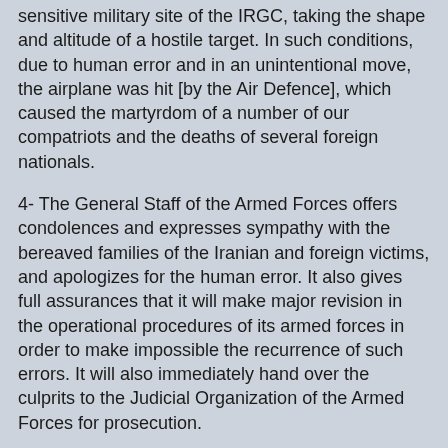sensitive military site of the IRGC, taking the shape and altitude of a hostile target. In such conditions, due to human error and in an unintentional move, the airplane was hit [by the Air Defence], which caused the martyrdom of a number of our compatriots and the deaths of several foreign nationals.
4- The General Staff of the Armed Forces offers condolences and expresses sympathy with the bereaved families of the Iranian and foreign victims, and apologizes for the human error. It also gives full assurances that it will make major revision in the operational procedures of its armed forces in order to make impossible the recurrence of such errors. It will also immediately hand over the culprits to the Judicial Organization of the Armed Forces for prosecution.
The Pentagon had claimed that Iran shot down the airliner but the evidence it presented was flimsy and not sufficient as the U.S. tends to spread disinformation about Iran.
It is welcome that the Iranian forces come clean about the incident.